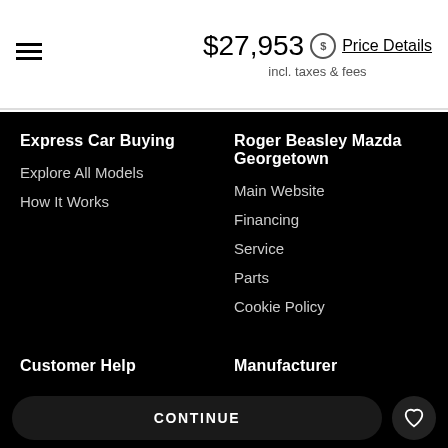$27,953 Price Details
incl. taxes & fees
Express Car Buying
Explore All Models
How It Works
Roger Beasley Mazda Georgetown
Main Website
Financing
Service
Parts
Cookie Policy
Customer Help
Contact Us
Hours & Map
About
Manufacturer
Mazda
CONTINUE